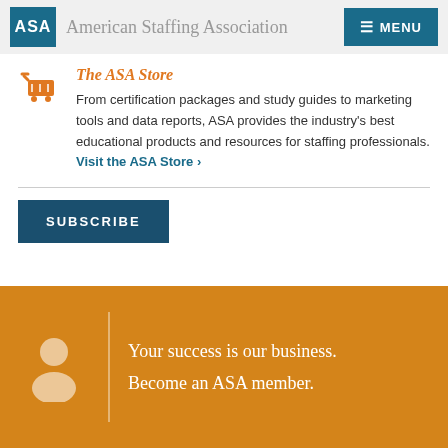ASA American Staffing Association MENU
The ASA Store
From certification packages and study guides to marketing tools and data reports, ASA provides the industry's best educational products and resources for staffing professionals. Visit the ASA Store ›
SUBSCRIBE
Your success is our business.
Become an ASA member.